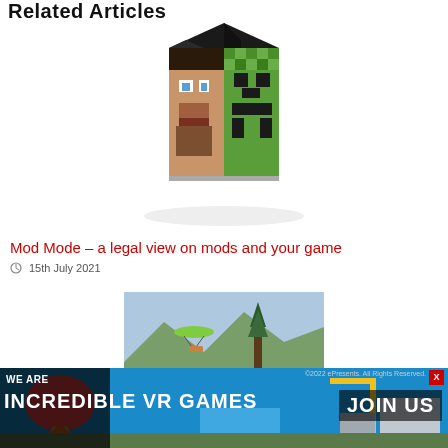Related Articles
[Figure (illustration): 3D pixelated Minecraft-style cube showing Steve's face merged with a Creeper face, rendered in a 3D perspective view]
Mod Mode – a legal view on mods and your game
15th July 2021
[Figure (screenshot): Screenshot of a video game showing outdoor environment with paraglider, mountainous terrain and trees]
[Figure (infographic): Advertisement banner: WE ARE INCREDIBLE VR GAMES with JOIN US call to action, featuring colorful game imagery]